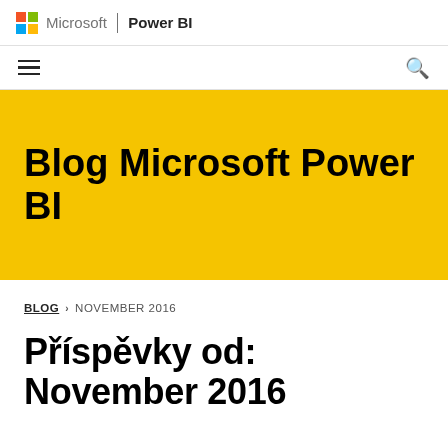Microsoft | Power BI
[Figure (logo): Microsoft logo (four colored squares: red, green, blue, yellow) followed by 'Microsoft' text, vertical divider, and 'Power BI' bold text]
Blog Microsoft Power BI
BLOG > NOVEMBER 2016
Příspěvky od: November 2016